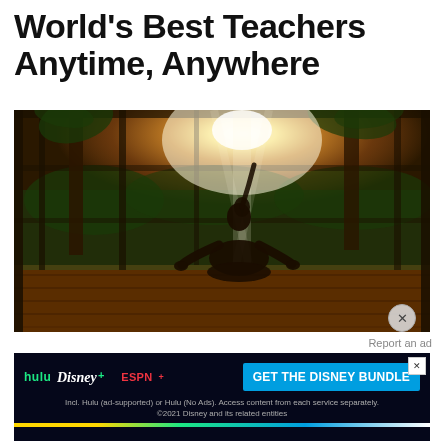World's Best Teachers Anytime, Anywhere
[Figure (photo): Person sitting in lotus meditation pose on a wooden deck, silhouetted against bright sunlight filtering through palm trees and a large windowed wall in a tropical setting]
Report an ad
[Figure (infographic): Disney Bundle advertisement banner featuring hulu, Disney+, and ESPN+ logos with 'GET THE DISNEY BUNDLE' call to action and fine print about Hulu plans]